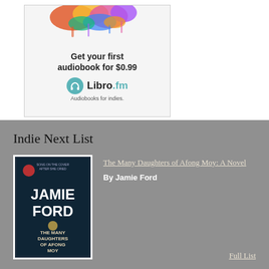[Figure (illustration): Libro.fm advertisement banner: colorful paint splash at top, bold text reading 'Get your first audiobook for $0.99', Libro.fm logo with headphone icon, tagline 'Audiobooks for indies.']
Indie Next List
[Figure (photo): Book cover of 'The Many Daughters of Afong Moy' by Jamie Ford — dark teal/navy background with author name JAMIE FORD in large letters and title THE MANY DAUGHTERS OF AFONG MOY below]
The Many Daughters of Afong Moy: A Novel
By Jamie Ford
Full List